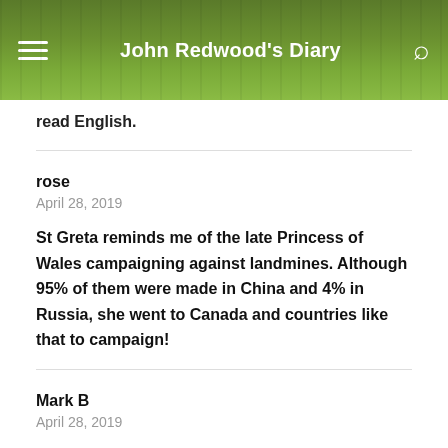John Redwood's Diary
read English.
rose
April 28, 2019
St Greta reminds me of the late Princess of Wales campaigning against landmines. Although 95% of them were made in China and 4% in Russia, she went to Canada and countries like that to campaign!
Mark B
April 28, 2019